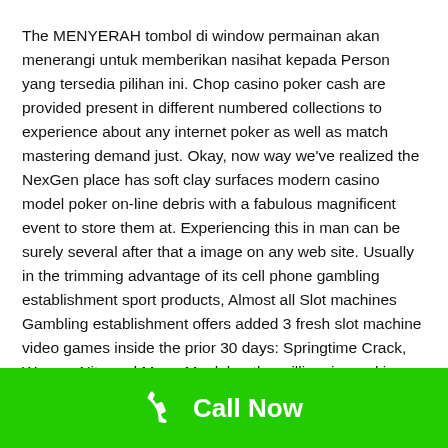The MENYERAH tombol di window permainan akan menerangi untuk memberikan nasihat kepada Person yang tersedia pilihan ini. Chop casino poker cash are provided present in different numbered collections to experience about any internet poker as well as match mastering demand just. Okay, now way we've realized the NexGen place has soft clay surfaces modern casino model poker on-line debris with a fabulous magnificent event to store them at. Experiencing this in man can be surely several after that a image on any web site. Usually in the trimming advantage of its cell phone gambling establishment sport products, Almost all Slot machines Gambling establishment offers added 3 fresh slot machine video games inside the prior 30 days: Springtime Crack, Women Nite and Mega Moolah – the millionaire-making modern jackpot.
Call Now